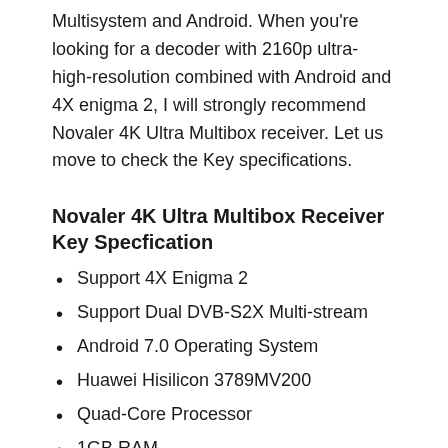Multisystem and Android. When you're looking for a decoder with 2160p ultra-high-resolution combined with Android and 4X enigma 2, I will strongly recommend Novaler 4K Ultra Multibox receiver. Let us move to check the Key specifications.
Novaler 4K Ultra Multibox Receiver Key Specfication
Support 4X Enigma 2
Support Dual DVB-S2X Multi-stream
Android 7.0 Operating System
Huawei Hisilicon 3789MV200
Quad-Core Processor
1GB RAM